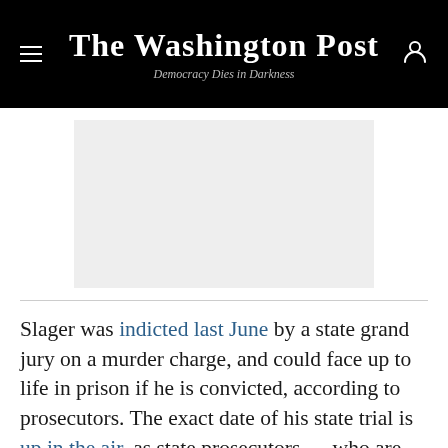The Washington Post — Democracy Dies in Darkness
[Figure (other): Gray advertisement placeholder box]
Slager was indicted last June by a state grand jury on a murder charge, and could face up to life in prison if he is convicted, according to prosecutors. The exact date of his state trial is up in the air, as state prosecutors — who are also working on the delayed trial against the man accused of killing nine black parishioners in a Charleston church — have asked for it to be pushed back. The trial for the man who is accused of the